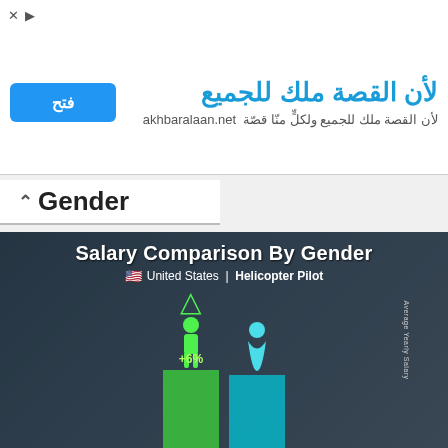[Figure (infographic): Advertisement banner for akhbaralaan.net in Arabic. Shows blue 'Open' button, Arabic text: 'لأن القصة ملك للجميع' and subtitle 'لأن القصة ملك للجميع ولكلٍّ منّا قصّة' with domain akhbaralaan.net]
Gender
[Figure (infographic): Salary Comparison By Gender infographic. United States | Helicopter Pilot. Men earn 109,000 USD, Women earn 103,000 USD. Men earn 6% more than women. Green male icon bar vs cyan female icon bar. Footer: In United States, men working as Helicopter Pilot(s) earn 6% more than women on average. salaryexplorer.com]